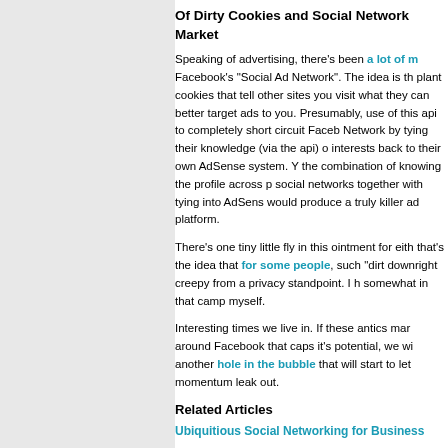Of Dirty Cookies and Social Network Market...
Speaking of advertising, there's been a lot of m... Facebook's "Social Ad Network". The idea is th... plant cookies that tell other sites you visit what... they can better target ads to you. Presumably,... use of this api to completely short circuit Faceb... Network by tying their knowledge (via the api) o... interests back to their own AdSense system. Y... the combination of knowing the profile across p... social networks together with tying into AdSens... would produce a truly killer ad platform.
There's one tiny little fly in this ointment for eith... that's the idea that for some people, such "dirt... downright creepy from a privacy standpoint. I h... somewhat in that camp myself.
Interesting times we live in. If these antics mar... around Facebook that caps it's potential, we wi... another hole in the bubble that will start to let... momentum leak out.
Related Articles
Ubiquitious Social Networking for Business...
Robbin Harris says Google Bluffed Microso...